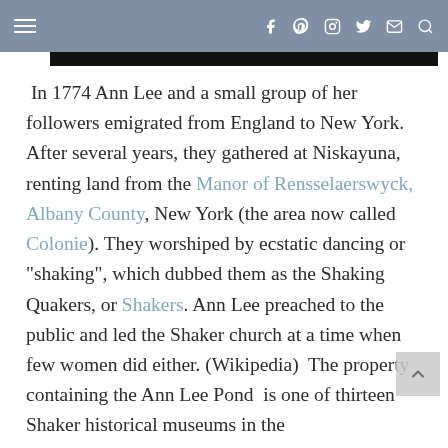≡  f  p  ◎  𝕏  ✉  🔍
In 1774 Ann Lee and a small group of her followers emigrated from England to New York. After several years, they gathered at Niskayuna, renting land from the Manor of Rensselaerswyck, Albany County, New York (the area now called Colonie). They worshiped by ecstatic dancing or "shaking", which dubbed them as the Shaking Quakers, or Shakers. Ann Lee preached to the public and led the Shaker church at a time when few women did either. (Wikipedia)  The property containing the Ann Lee Pond  is one of thirteen Shaker historical museums in the